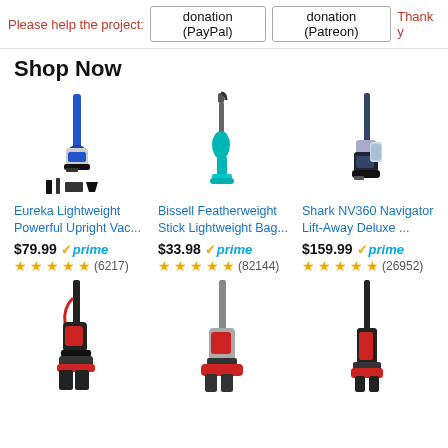Please help the project: donation (PayPal) donation (Patreon) Thank y
Shop Now
[Figure (photo): Eureka Lightweight Powerful Upright Vacuum cleaner product image]
Eureka Lightweight Powerful Upright Vac...
$79.99 prime (6217 reviews, 4.5 stars)
[Figure (photo): Bissell Featherweight Stick Lightweight Bag product image]
Bissell Featherweight Stick Lightweight Bag...
$33.98 prime (82144 reviews, 4.5 stars)
[Figure (photo): Shark NV360 Navigator Lift-Away Deluxe product image]
Shark NV360 Navigator Lift-Away Deluxe ...
$159.99 prime (26952 reviews, 4.5 stars)
[Figure (photo): Second row vacuum cleaner 1 product image]
[Figure (photo): Second row vacuum cleaner 2 product image]
[Figure (photo): Second row vacuum cleaner 3 product image]